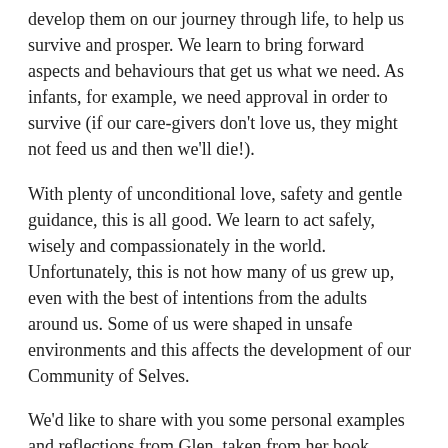develop them on our journey through life, to help us survive and prosper. We learn to bring forward aspects and behaviours that get us what we need. As infants, for example, we need approval in order to survive (if our care-givers don't love us, they might not feed us and then we'll die!).
With plenty of unconditional love, safety and gentle guidance, this is all good. We learn to act safely, wisely and compassionately in the world. Unfortunately, this is not how many of us grew up, even with the best of intentions from the adults around us. Some of us were shaped in unsafe environments and this affects the development of our Community of Selves.
We'd like to share with you some personal examples and reflections from Glen, taken from her book Getting Our Act Together: How to harness the power of groups: